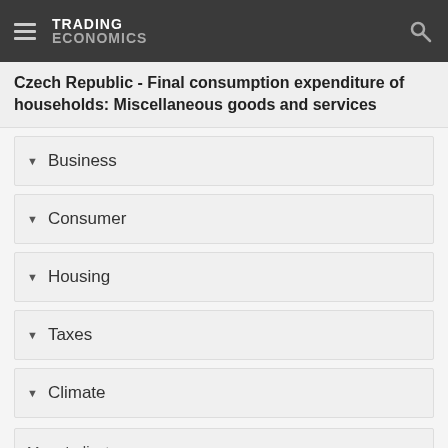TRADING ECONOMICS
Czech Republic - Final consumption expenditure of households: Miscellaneous goods and services
Business
Consumer
Housing
Taxes
Climate
More Indicators
National Statistics